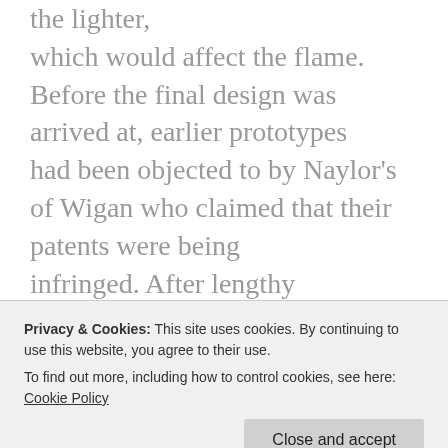the lighter, which would affect the flame. Before the final design was arrived at, earlier prototypes had been objected to by Naylor's of Wigan who claimed that their patents were being infringed. After lengthy discussions between the Protector board and Naylor's from 1957 onwards the type 59 was made. It was
Privacy & Cookies: This site uses cookies. By continuing to use this website, you agree to their use. To find out more, including how to control cookies, see here: Cookie Policy
are in the collection Nos 116, 119 inc